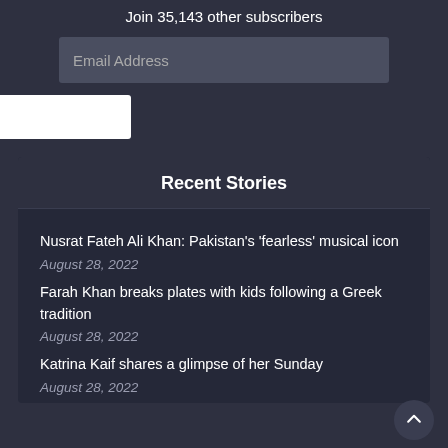Join 35,143 other subscribers
[Figure (screenshot): Email Address input field (dark grey rounded rectangle)]
[Figure (screenshot): White subscribe button (rounded rectangle)]
Recent Stories
Nusrat Fateh Ali Khan: Pakistan’s ‘fearless’ musical icon
August 28, 2022
Farah Khan breaks plates with kids following a Greek tradition
August 28, 2022
Katrina Kaif shares a glimpse of her Sunday
August 28, 2022